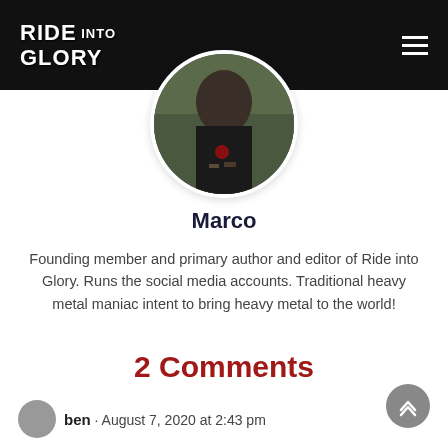Ride into Glory
[Figure (photo): Circular avatar photo of a person wearing a black t-shirt with metal band patches, standing outdoors on grass]
Marco
Founding member and primary author and editor of Ride into Glory. Runs the social media accounts. Traditional heavy metal maniac intent to bring heavy metal to the world!
2 Comments
ben · August 7, 2020 at 2:43 pm